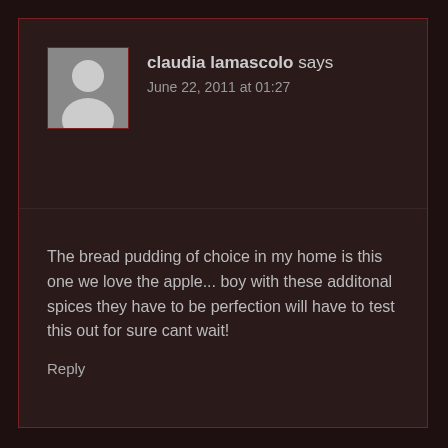[Figure (illustration): Gray silhouette avatar placeholder image with red border]
claudia lamascolo says
June 22, 2011 at 01:27
The bread pudding of choice in my home is this one we love the apple... boy with these additonal spices they have to be perfection will have to test this out for sure cant wait!
Reply